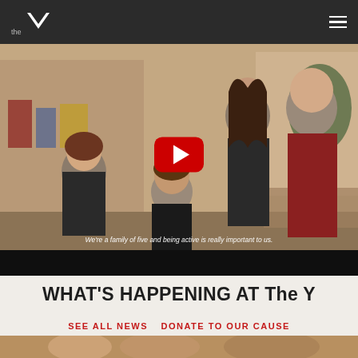the Y (YMCA logo) with hamburger menu
[Figure (screenshot): YouTube video thumbnail showing a family of five (two adults, three children) in a YMCA facility with a red YouTube play button overlay. Caption reads: We're a family of five and being active is really important to us.]
WHAT'S HAPPENING AT The Y
SEE ALL NEWS   DONATE TO OUR CAUSE
[Figure (photo): Partial photo strip at the bottom of the page showing people, cut off]